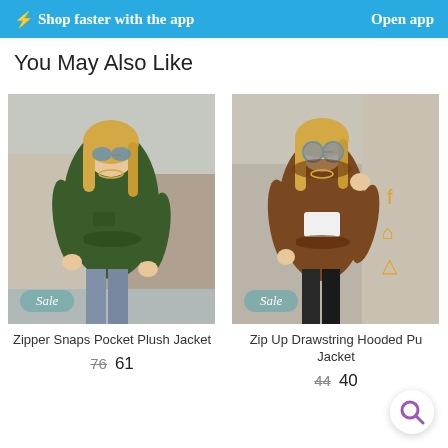Shop faster with the app   Open app
You May Also Like
[Figure (photo): Woman wearing a dark green zipper utility jacket with drawstring waist, sunglasses, posing outdoors. Sale badge visible.]
Zipper Snaps Pocket Plush Jacket
76  61
[Figure (photo): Woman wearing a brown faux leather hooded zip-up jacket with drawstring, white crop top underneath, sunglasses, posing outdoors. Sale badge visible.]
Zip Up Drawstring Hooded Pu Jacket
44  40